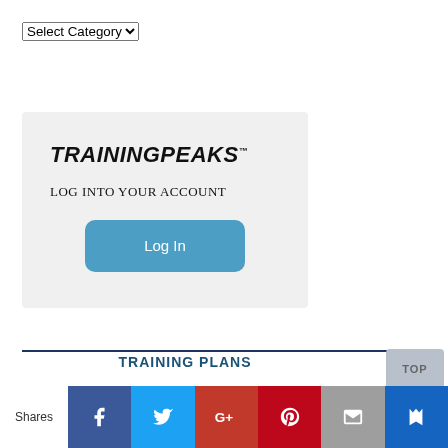[Figure (screenshot): A dropdown select element labeled 'Select Category' with a chevron arrow on the right.]
[Figure (screenshot): TrainingPeaks login widget on a light gray background. Shows 'TRAININGPEAKS' logo in bold italic with trademark symbol, 'LOG INTO YOUR ACCOUNT' subtitle, and a blue rounded 'Log In' button.]
TRAINING PLANS
[Figure (screenshot): Social sharing bar with Facebook, Twitter, Google+, Pinterest, Email, and Bookmark icons. 'Shares' label on the left.]